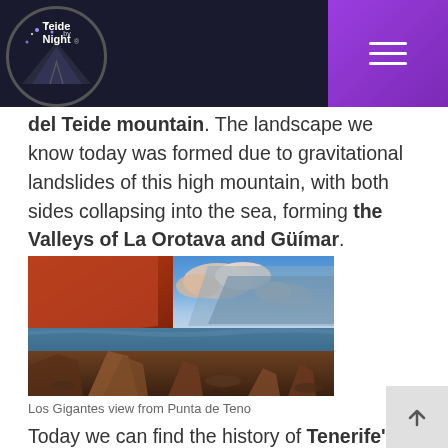Teide by Night (logo) | menu button
del Teide mountain. The landscape we know today was formed due to gravitational landslides of this high mountain, with both sides collapsing into the sea, forming the Valleys of La Orotava and Güímar.
[Figure (photo): Landscape photograph showing Los Gigantes cliffs and rocky coastline at sunset/golden hour, with orange-red illuminated cliffs, blue sky with pink clouds, and rocky foreground near the sea.]
Los Gigantes view from Punta de Teno
Today we can find the history of Tenerife's volcanic